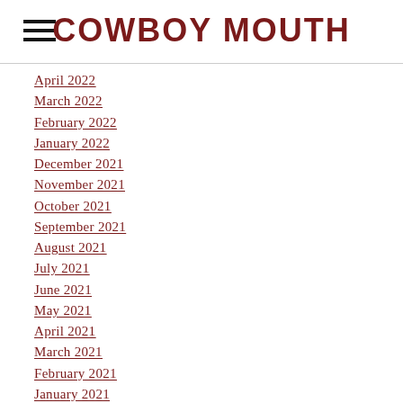COWBOY MOUTH
April 2022
March 2022
February 2022
January 2022
December 2021
November 2021
October 2021
September 2021
August 2021
July 2021
June 2021
May 2021
April 2021
March 2021
February 2021
January 2021
December 2020
November 2020